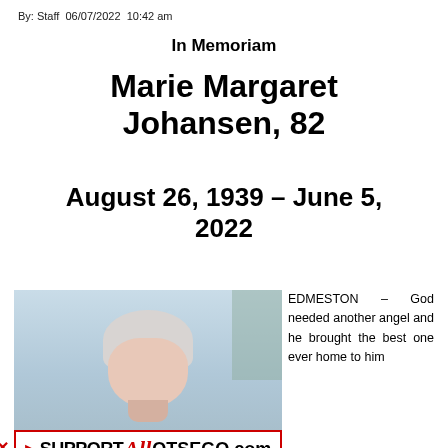By: Staff  06/07/2022  10:42 am
In Memoriam
Marie Margaret Johansen, 82
August 26, 1939 – June 5, 2022
[Figure (photo): Portrait photo of Marie Margaret Johansen, an elderly woman with white/gray hair, photographed outdoors with a light blue sky and building visible in background. An advertisement banner for AllOtsego.com overlays the bottom of the photo.]
EDMESTON – God needed another angel and he brought the best one ever home to him